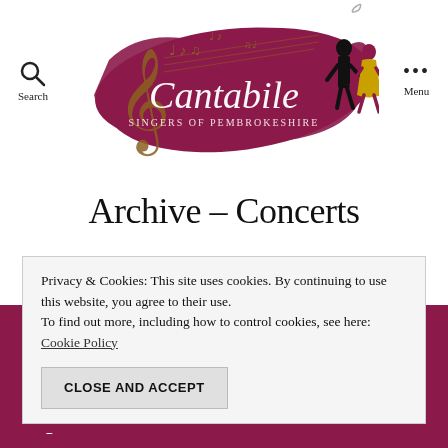[Figure (logo): Cantabile Singers of Pembrokeshire logo with musical notes, treble clef, and silhouettes of dancers/singers on a purple brush stroke background]
Archive – Concerts
Privacy & Cookies: This site uses cookies. By continuing to use this website, you agree to their use.
To find out more, including how to control cookies, see here: Cookie Policy
CLOSE AND ACCEPT
response. Teas, coffees and cakes were